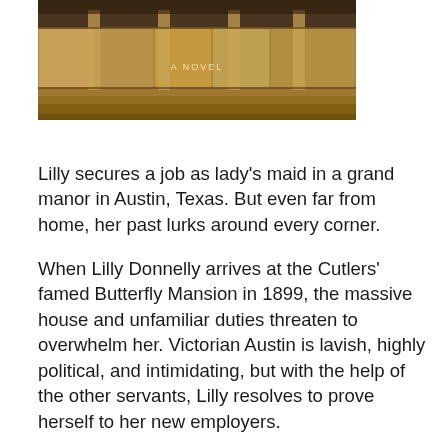[Figure (photo): Top portion of a book cover showing a sepia-toned architectural scene with stone steps and columns, with the text 'A NOVEL' visible]
Lilly secures a job as lady's maid in a grand manor in Austin, Texas. But even far from home, her past lurks around every corner.
When Lilly Donnelly arrives at the Cutlers' famed Butterfly Mansion in 1899, the massive house and unfamiliar duties threaten to overwhelm her. Victorian Austin is lavish, highly political, and intimidating, but with the help of the other servants, Lilly resolves to prove herself to her new employers.
Then, while serving at an elegant dinner party, Lilly recognizes one distinguished guest as Andrew, the love of her life, who abandoned her without a word back home.
He seems to have assumed a new identity and refuses to